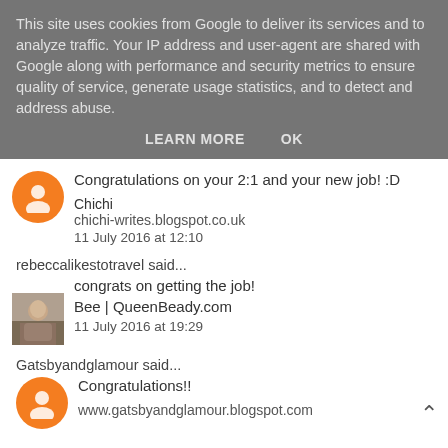This site uses cookies from Google to deliver its services and to analyze traffic. Your IP address and user-agent are shared with Google along with performance and security metrics to ensure quality of service, generate usage statistics, and to detect and address abuse.
LEARN MORE   OK
Congratulations on your 2:1 and your new job! :D
Chichi
chichi-writes.blogspot.co.uk
11 July 2016 at 12:10
rebeccalikestotravel said...
congrats on getting the job!
Bee | QueenBeady.com
11 July 2016 at 19:29
Gatsbyandglamour said...
Congratulations!!
www.gatsbyandglamour.blogspot.com